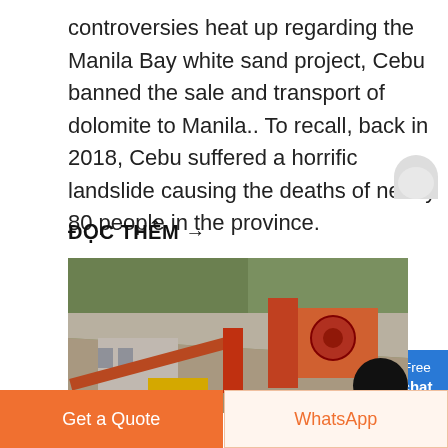controversies heat up regarding the Manila Bay white sand project, Cebu banned the sale and transport of dolomite to Manila.. To recall, back in 2018, Cebu suffered a horrific landslide causing the deaths of nearly 80 people in the province.
ĐỌC THÊM →
[Figure (photo): Photograph of a mining/quarry site with industrial equipment including conveyor belts, crusher machinery, and structures against a hillside background.]
Get a Quote
WhatsApp